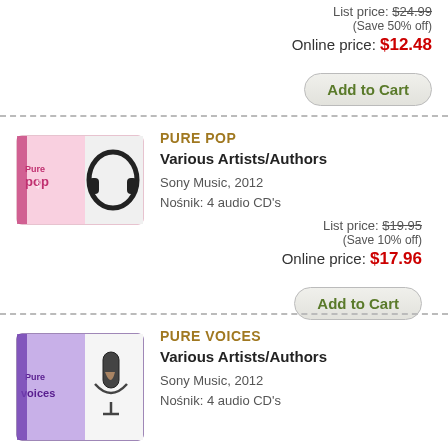List price: $24.99 (Save 50% off)
Online price: $12.48
Add to Cart
[Figure (illustration): Pure Pop CD box set product image with headphones on pink background]
PURE POP
Various Artists/Authors
Sony Music, 2012
Nośnik: 4 audio CD's
List price: $19.95 (Save 10% off)
Online price: $17.96
Add to Cart
[Figure (illustration): Pure Voices CD box set product image with microphone on purple/violet background]
PURE VOICES
Various Artists/Authors
Sony Music, 2012
Nośnik: 4 audio CD's